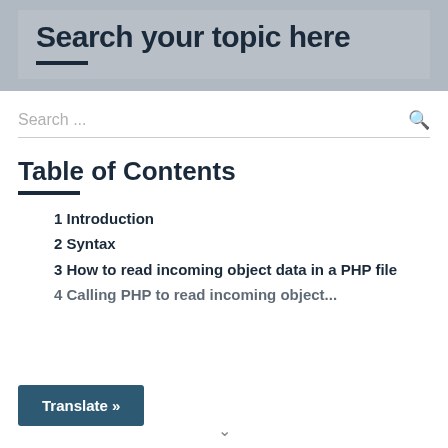Search your topic here
Search ...
Table of Contents
1 Introduction
2 Syntax
3 How to read incoming object data in a PHP file
4 Calling PHP to read incoming object...
Translate »